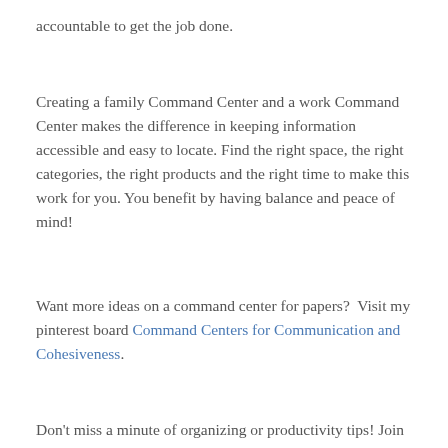accountable to get the job done.
Creating a family Command Center and a work Command Center makes the difference in keeping information accessible and easy to locate. Find the right space, the right categories, the right products and the right time to make this work for you. You benefit by having balance and peace of mind!
Want more ideas on a command center for papers?  Visit my pinterest board Command Centers for Communication and Cohesiveness.
Don't miss a minute of organizing or productivity tips! Join my newsletter